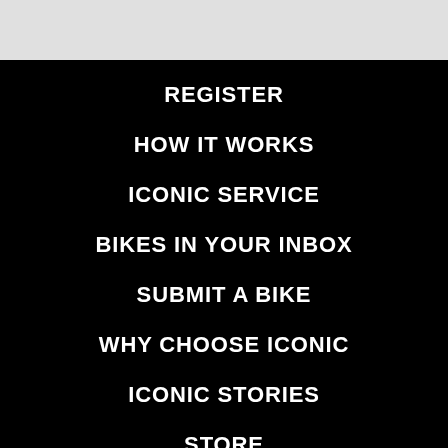REGISTER
HOW IT WORKS
ICONIC SERVICE
BIKES IN YOUR INBOX
SUBMIT A BIKE
WHY CHOOSE ICONIC
ICONIC STORIES
STORE
CONTACT